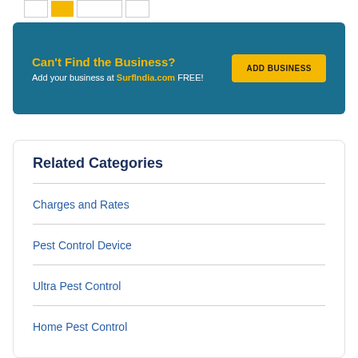[Figure (other): Partially visible pagination or tab bar with white, yellow, and white boxes]
Can't Find the Business? Add your business at SurfIndia.com FREE!
ADD BUSINESS
Related Categories
Charges and Rates
Pest Control Device
Ultra Pest Control
Home Pest Control